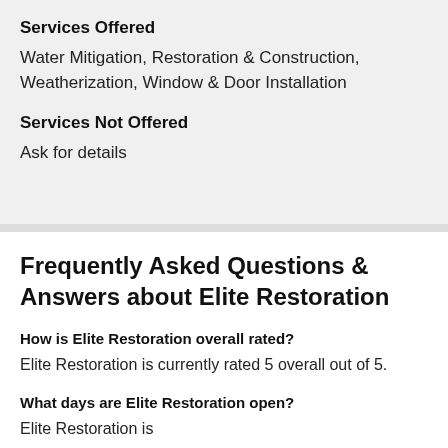Services Offered
Water Mitigation, Restoration & Construction, Weatherization, Window & Door Installation
Services Not Offered
Ask for details
Frequently Asked Questions & Answers about Elite Restoration
How is Elite Restoration overall rated?
Elite Restoration is currently rated 5 overall out of 5.
What days are Elite Restoration open?
Elite Restoration is...